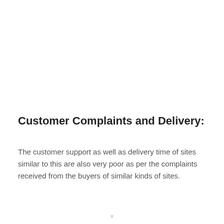Customer Complaints and Delivery:
The customer support as well as delivery time of sites similar to this are also very poor as per the complaints received from the buyers of similar kinds of sites.
x